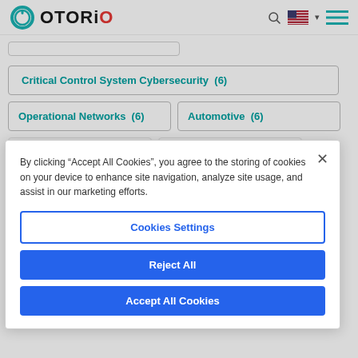[Figure (logo): OTORIO logo with circular power icon and red dot over letter I]
Critical Control System Cybersecurity  (6)
Operational Networks  (6)
Automotive  (6)
By clicking “Accept All Cookies”, you agree to the storing of cookies on your device to enhance site navigation, analyze site usage, and assist in our marketing efforts.
Cookies Settings
Reject All
Accept All Cookies